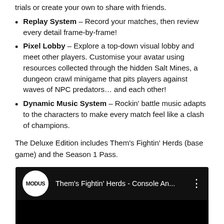trials or create your own to share with friends.
Replay System – Record your matches, then review every detail frame-by-frame!
Pixel Lobby – Explore a top-down visual lobby and meet other players. Customise your avatar using resources collected through the hidden Salt Mines, a dungeon crawl minigame that pits players against waves of NPC predators… and each other!
Dynamic Music System – Rockin' battle music adapts to the characters to make every match feel like a clash of champions.
The Deluxe Edition includes Them's Fightin' Herds (base game) and the Season 1 Pass.
[Figure (screenshot): YouTube video embed thumbnail showing Modus Games logo circle and title 'Them's Fightin' Herds - Console An...' with three-dot menu icon on dark background]